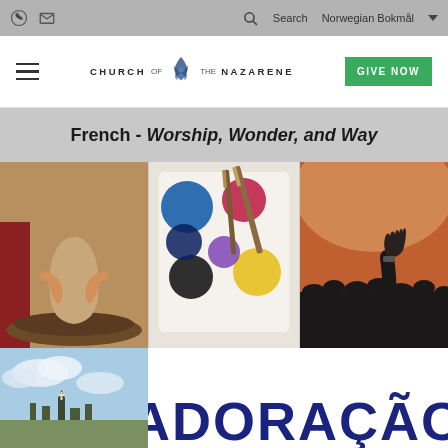Church of the Nazarene — Search  Norwegian Bokmål  GIVE NOW
French - Worship, Wonder, and Way
[Figure (photo): Three-panel collage: left panel showing hands shaping clay pottery on a wheel; center panel showing colorful paint palette with brushes (blue, red, yellow, black paints); right panel showing silhouette of raised hand in a worship/concert crowd with warm orange lighting. Bottom row: left panel showing sky with clouds and distant church/town; right panel with large bold text 'ADORAÇÃO' in dark navy blue.]